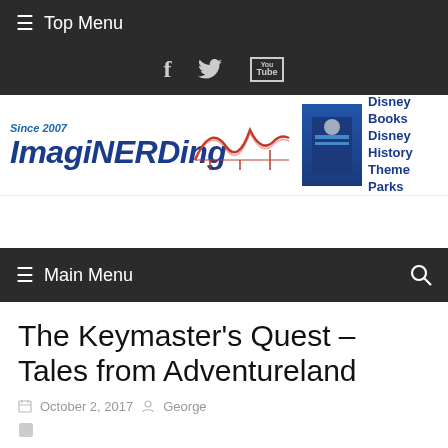≡ Top Menu
[Figure (other): Social media icons: Facebook (f), Twitter (bird), YouTube logo]
[Figure (logo): ImagiNERDing website logo with roller coaster graphic. Text: Since 2007, ImagiNERDing. Right side: Disney Books, Disney History, Theme Parks]
≡ Main Menu
The Keymaster's Quest – Tales from Adventureland
October 2, 2017   George